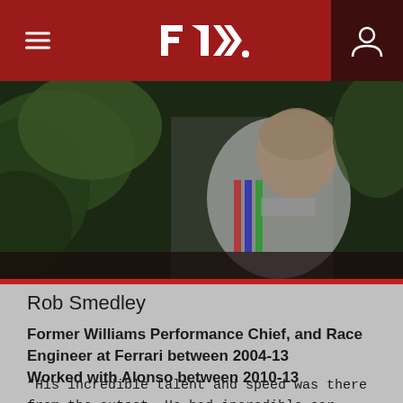F1 navigation header with hamburger menu, F1 logo, and user icon
[Figure (photo): Photo of Rob Smedley, a man in a white racing suit with Martini branding, partially obscured by green foliage in the foreground, looking thoughtful]
Rob Smedley
Former Williams Performance Chief, and Race Engineer at Ferrari between 2004-13
Worked with Alonso between 2010-13
“His incredible talent and speed was there from the outset. He had incredible car control and not only that, the mindset he has now was there from the first